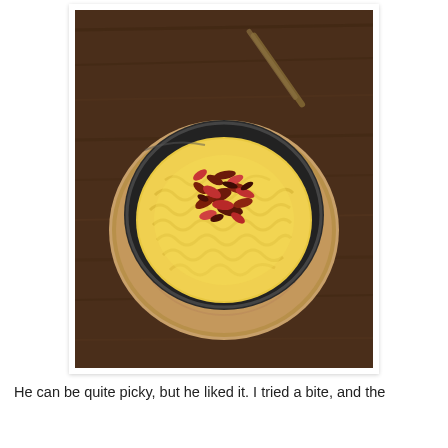[Figure (photo): A black cast iron skillet on a wooden trivet/board, filled with creamy yellow macaroni and cheese topped with crumbled bacon pieces. A fork or spoon is visible in the upper right of the bowl. The skillet sits on a dark wood table. The photo is presented with a white border/mat on a white background, like a printed photograph.]
He can be quite picky, but he liked it. I tried a bite, and the